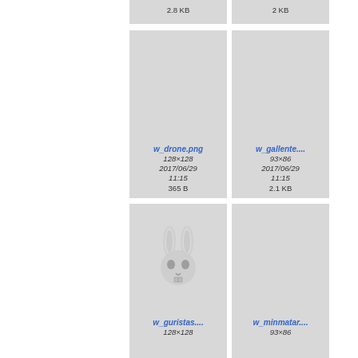[Figure (screenshot): File browser grid showing image file thumbnails with metadata. Top row partial: 2.8 KB and 2 KB files. Second row: w_drone.png (128×128, 2017/06/29 11:15, 365 B) and w_gallente.... (93×86, 2017/06/29 11:15, 2.1 KB). Third row: w_guristas.... (128×128, 2017/06/29 11:15, 3.6 KB) with a rabbit skull logo visible, and w_minmatar.... (93×86, 2017/06/29 11:15, 1.8 KB). Fourth row partially visible.]